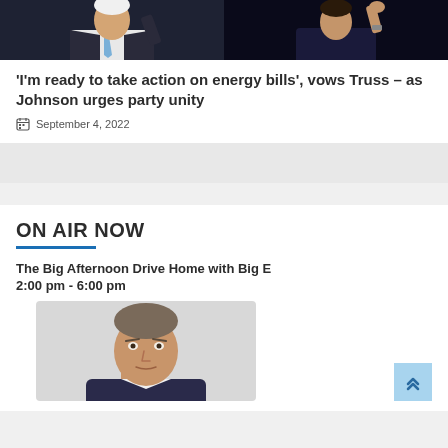[Figure (photo): Two people on dark background — a man in suit with blue tie on the left, and a person with raised hand on the right]
'I'm ready to take action on energy bills', vows Truss – as Johnson urges party unity
September 4, 2022
ON AIR NOW
The Big Afternoon Drive Home with Big E
2:00 pm - 6:00 pm
[Figure (photo): Headshot of a man with short grey-brown hair against a light background]